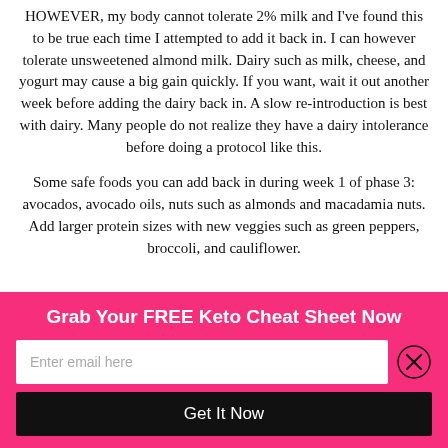HOWEVER, my body cannot tolerate 2% milk and I've found this to be true each time I attempted to add it back in. I can however tolerate unsweetened almond milk. Dairy such as milk, cheese, and yogurt may cause a big gain quickly. If you want, wait it out another week before adding the dairy back in. A slow re-introduction is best with dairy. Many people do not realize they have a dairy intolerance before doing a protocol like this.
Some safe foods you can add back in during week 1 of phase 3: avocados, avocado oils, nuts such as almonds and macadamia nuts. Add larger protein sizes with new veggies such as green peppers, broccoli, and cauliflower.
Grab Your FREE Keto Cheat Sheet Now